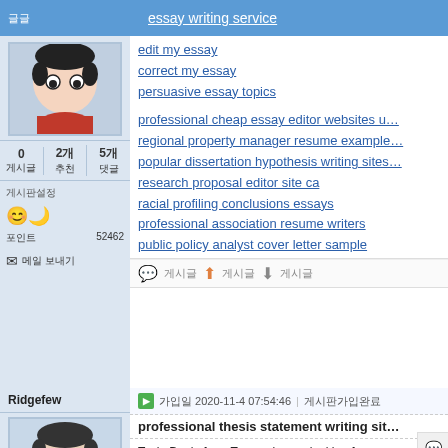essay writing service
edit my essay
correct my essay
persuasive essay topics
professional cheap essay editor websites u...
regional property manager resume example...
popular dissertation hypothesis writing sites...
research proposal editor site ca
racial profiling conclusions essays
professional association resume writers
public policy analyst cover letter sample
0 게시글 | 2개 추천 | 5개 댓글
게시판설정
포인트  52462
메일 보내기
Ridgefew
가입일 2020-11-4 07:54:46 | 게시판가입완료
professional thesis statement writing sit...
Tevin Doyle from Temecula was looking for...
Tyson Myers found the answer to a search...